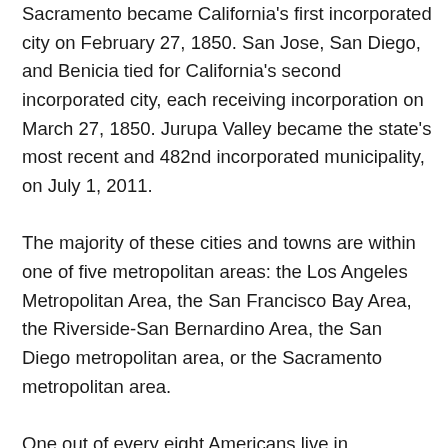Sacramento became California's first incorporated city on February 27, 1850. San Jose, San Diego, and Benicia tied for California's second incorporated city, each receiving incorporation on March 27, 1850. Jurupa Valley became the state's most recent and 482nd incorporated municipality, on July 1, 2011. The majority of these cities and towns are within one of five metropolitan areas: the Los Angeles Metropolitan Area, the San Francisco Bay Area, the Riverside-San Bernardino Area, the San Diego metropolitan area, or the Sacramento metropolitan area. One out of every eight Americans live in California. The United States Census Bureau